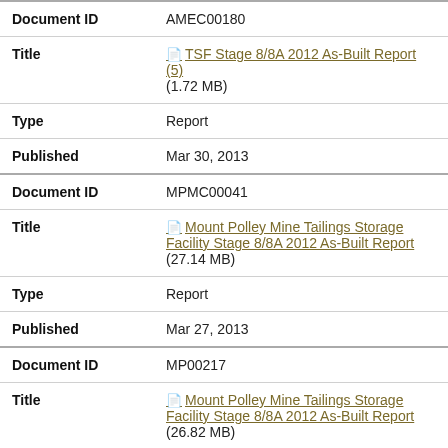| Document ID | AMEC00180 |
| Title | TSF Stage 8/8A 2012 As-Built Report (5) (1.72 MB) |
| Type | Report |
| Published | Mar 30, 2013 |
| Document ID | MPMC00041 |
| Title | Mount Polley Mine Tailings Storage Facility Stage 8/8A 2012 As-Built Report (27.14 MB) |
| Type | Report |
| Published | Mar 27, 2013 |
| Document ID | MP00217 |
| Title | Mount Polley Mine Tailings Storage Facility Stage 8/8A 2012 As-Built Report (26.82 MB) |
| Type | Report |